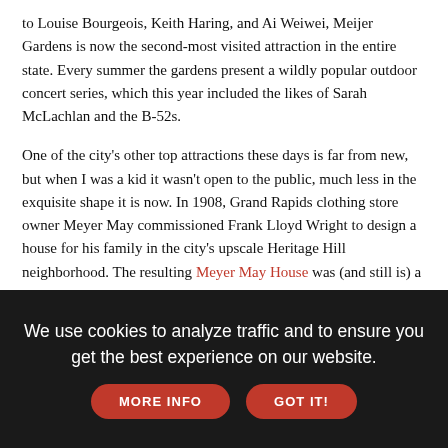to Louise Bourgeois, Keith Haring, and Ai Weiwei, Meijer Gardens is now the second-most visited attraction in the entire state. Every summer the gardens present a wildly popular outdoor concert series, which this year included the likes of Sarah McLachlan and the B-52s.
One of the city's other top attractions these days is far from new, but when I was a kid it wasn't open to the public, much less in the exquisite shape it is now. In 1908, Grand Rapids clothing store owner Meyer May commissioned Frank Lloyd Wright to design a house for his family in the city's upscale Heritage Hill neighborhood. The resulting Meyer May House was (and still is) a starkly modern contrast to the mostly Victorian homes surrounding it and a beautiful example of Wright's Prairie School period. After Mayer died in 1936, the house gradually fell into disrepair, until local furniture company Steelcase acquired and painstakingly restored the house in the 1980s, opening it to the public for free tours ever since.
Grand Rapids' dining scene has improved dramatically since my day,
We use cookies to analyze traffic and to ensure you get the best experience on our website.